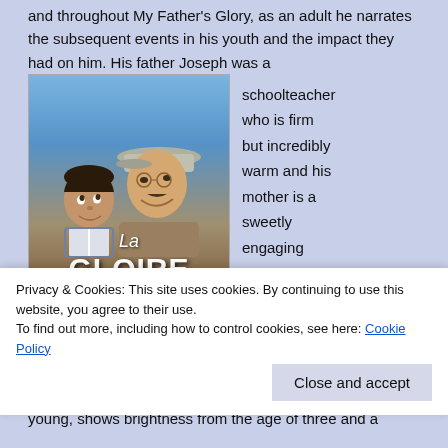and throughout My Father's Glory, as an adult he narrates the subsequent events in his youth and the impact they had on him. His father Joseph was a
[Figure (photo): Movie poster for 'La Gloire de Mon Père' (My Father's Glory), showing a man in a cap and a young boy looking up at him, with film credits at the top including Philippe Caubère, Nathalie Roussel, Didier Pain, Thérèse Liotard, directed by Yves Robert, based on Marcel Pagnol.]
schoolteacher who is firm but incredibly warm and his mother is a sweetly engaging woman named Augustine.
Privacy & Cookies: This site uses cookies. By continuing to use this website, you agree to their use.
To find out more, including how to control cookies, see here: Cookie Policy
young, shows brightness from the age of three and a